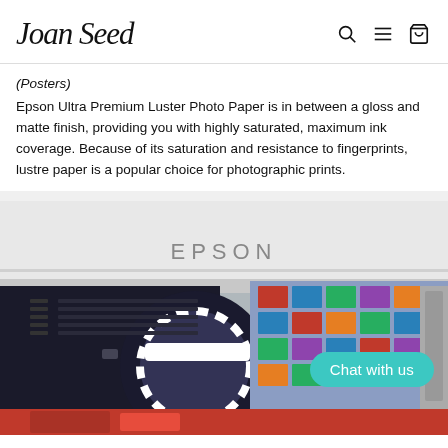JoanSeed
(Posters)
Epson Ultra Premium Luster Photo Paper is in between a gloss and matte finish, providing you with highly saturated, maximum ink coverage. Because of its saturation and resistance to fingerprints, lustre paper is a popular choice for photographic prints.
[Figure (photo): Close-up of an Epson large-format printer with a roll of photo paper being printed, showing colorful images being printed on the roll. A 'Chat with us' button overlay appears in the bottom right.]
[Figure (photo): Partial view of a red-shirted person, bottom strip of image.]